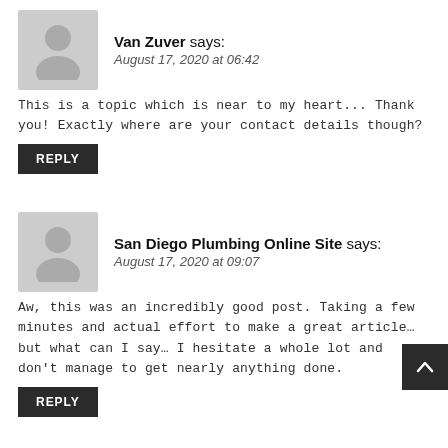Van Zuver says:
August 17, 2020 at 06:42
This is a topic which is near to my heart... Thank you! Exactly where are your contact details though?
REPLY
San Diego Plumbing Online Site says:
August 17, 2020 at 09:07
Aw, this was an incredibly good post. Taking a few minutes and actual effort to make a great article… but what can I say… I hesitate a whole lot and don't manage to get nearly anything done.
REPLY